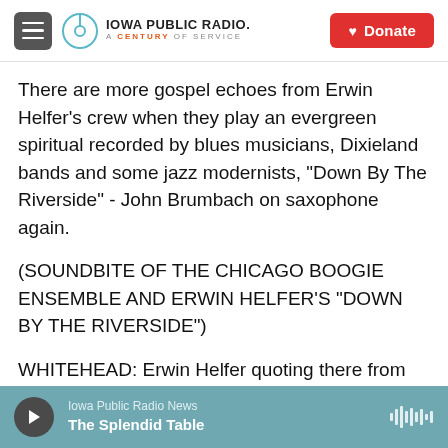Iowa Public Radio. A Century of Service | Donate
There are more gospel echoes from Erwin Helfer's crew when they play an evergreen spiritual recorded by blues musicians, Dixieland bands and some jazz modernists, "Down By The Riverside" - John Brumbach on saxophone again.
(SOUNDBITE OF THE CHICAGO BOOGIE ENSEMBLE AND ERWIN HELFER'S "DOWN BY THE RIVERSIDE")
WHITEHEAD: Erwin Helfer quoting there from Thelonious Monk's "In Walked Bud," just as he sneaks bits of the same composer's "Blue Monk"
Iowa Public Radio News | The Splendid Table